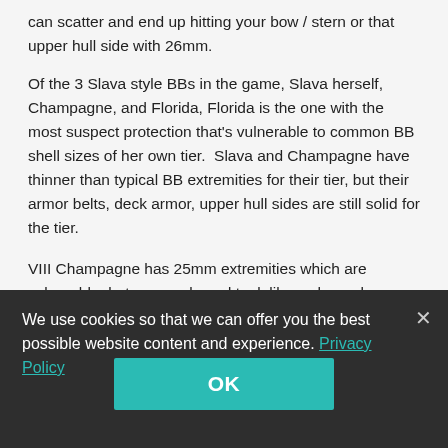can scatter and end up hitting your bow / stern or that upper hull side with 26mm.
Of the 3 Slava style BBs in the game, Slava herself, Champagne, and Florida, Florida is the one with the most suspect protection that's vulnerable to common BB shell sizes of her own tier.  Slava and Champagne have thinner than typical BB extremities for their tier, but their armor belts, deck armor, upper hull sides are still solid for the tier.
VIII Champagne has 25mm extremities which are vulnerable, but can angle and tank like a champ because her mid section is 32mm.  Only 460mm+ AP can Overmatch that.
We use cookies so that we can offer you the best possible website content and experience. Privacy Policy